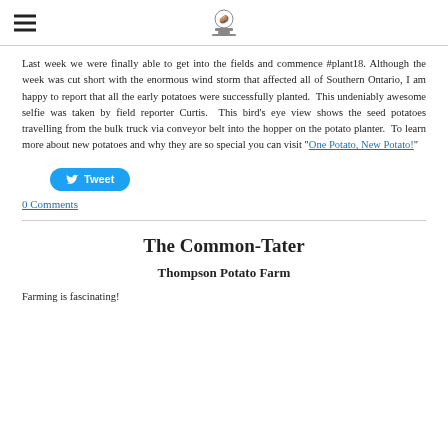Thompson Potato Farm logo and hamburger menu
Last week we were finally able to get into the fields and commence #plant18. Although the week was cut short with the enormous wind storm that affected all of Southern Ontario, I am happy to report that all the early potatoes were successfully planted.  This undeniably awesome selfie was taken by field reporter Curtis.  This bird's eye view shows the seed potatoes travelling from the bulk truck via conveyor belt into the hopper on the potato planter.  To learn more about new potatoes and why they are so special you can visit "One Potato, New Potato!"
[Figure (other): Tweet button with Twitter bird icon]
0 Comments
The Common-Tater
Thompson Potato Farm
Farming is fascinating!